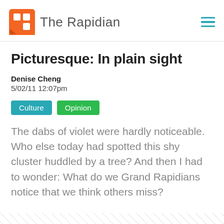The Rapidian
Picturesque: In plain sight
Denise Cheng
5/02/11 12:07pm
Culture
Opinion
The dabs of violet were hardly noticeable. Who else today had spotted this shy cluster huddled by a tree? And then I had to wonder: What do we Grand Rapidians notice that we think others miss?